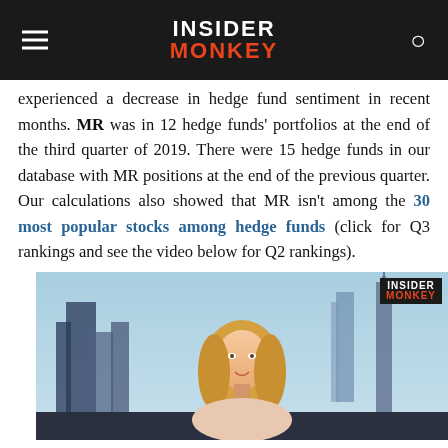INSIDER MONKEY
experienced a decrease in hedge fund sentiment in recent months. MR was in 12 hedge funds' portfolios at the end of the third quarter of 2019. There were 15 hedge funds in our database with MR positions at the end of the previous quarter. Our calculations also showed that MR isn't among the 30 most popular stocks among hedge funds (click for Q3 rankings and see the video below for Q2 rankings).
[Figure (photo): Video thumbnail showing a female TV presenter with blonde hair in a studio with a city skyline (New York) background, with Insider Monkey logo in top right corner.]